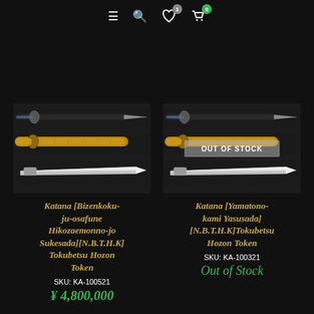Navigation icons: menu, search, wishlist (1), cart (0)
[Figure (photo): Katana sword product image showing blade in saya with wooden handle, two views]
Katana [Bizenkoku-ju-osafune Hikozaemonno-jo Sukesada][N.B.T.H.K] Tokubetsu Hozon Token
SKU: KA-100521
¥ 4,800,000
[Figure (photo): Katana sword product image with OUT OF STOCK overlay]
Katana [Yamatono-kami Yasusada] [N.B.T.H.K]Tokubetsu Hozon Token
SKU: KA-100321
Out of Stock